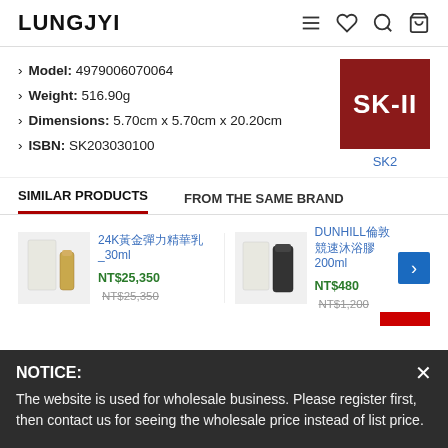LUNGJYI
Model: 4979006070064
Weight: 516.90g
Dimensions: 5.70cm x 5.70cm x 20.20cm
ISBN: SK203030100
[Figure (logo): SK-II brand logo: red square with white SK-II text]
SK2
SIMILAR PRODUCTS
FROM THE SAME BRAND
[Figure (photo): 24K product image, white and gold packaging, 30ml]
24K黃金彈力精華乳_30ml NT$25,350 NT$25,350
[Figure (photo): DUNHILL product image, white and black packaging, 200ml]
DUNHILL倫敦競速沐浴膠200ml NT$480 NT$1,200
NOTICE: The website is used for wholesale business. Please register first, then contact us for seeing the wholesale price instead of list price.